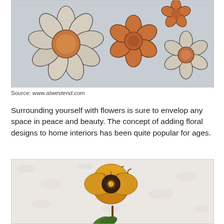[Figure (photo): Decorative wall flower art pieces: a large daisy-like flower with wood-textured petals and terracotta center, a medium orange/terracotta flower, a small orange flower bud, and a small wood-textured flower, all on a light blue-grey background.]
Source: www.atwestend.com
Surrounding yourself with flowers is sure to envelop any space in peace and beauty. The concept of adding floral designs to home interiors has been quite popular for ages.
[Figure (photo): A decorative metal flower wall art piece resembling a pansy with yellow-orange petals and dark center, mounted on a textured white wall, with a green metal leaf accent at the bottom and curling metal tendrils.]